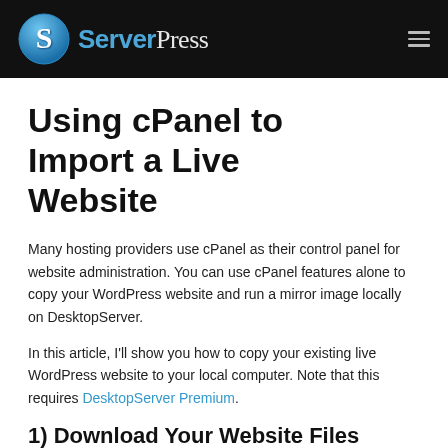ServerPress
Using cPanel to Import a Live Website
Many hosting providers use cPanel as their control panel for website administration. You can use cPanel features alone to copy your WordPress website and run a mirror image locally on DesktopServer.
In this article, I'll show you how to copy your existing live WordPress website to your local computer. Note that this requires DesktopServer Premium.
1) Download Your Website Files
Login to your live website's cPanel